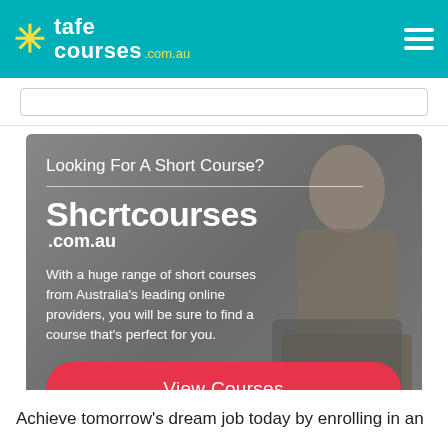tafe courses .com.au
[Figure (screenshot): Advertisement banner for Shortcourses.com.au with a man looking at a laptop on a grey background. Text reads: Looking For A Short Course? Shortcourses.com.au. With a huge range of short courses from Australia's leading online providers, you will be sure to find a course that's perfect for you. View Courses button.]
Achieve tomorrow's dream job today by enrolling in an